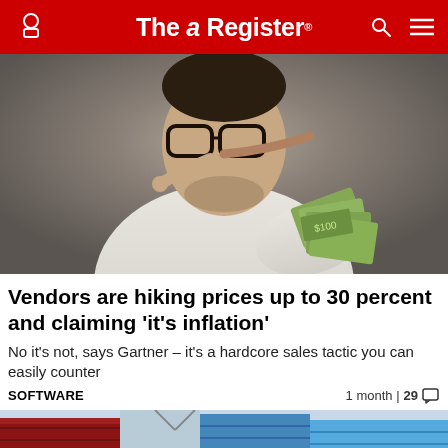The Register
[Figure (photo): Man with Pinocchio-style long nose wearing glasses and white shirt, holding a fan of US dollar bills, pointing finger to nose against grey background]
Vendors are hiking prices up to 30 percent and claiming 'it's inflation'
No it's not, says Gartner – it's a hardcore sales tactic you can easily counter
SOFTWARE    1 month | 29
[Figure (photo): Shipping containers in red and blue colors, partial view at bottom of page]